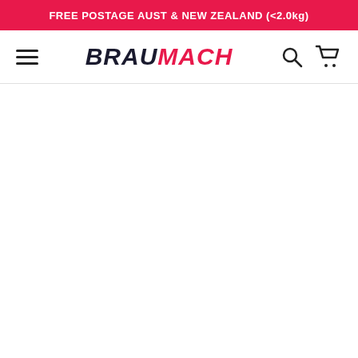FREE POSTAGE AUST & NEW ZEALAND (<2.0kg)
[Figure (logo): BRAUMACH logo in bold italic font, BRAU in dark navy and MACH in red, with hamburger menu icon on left and search/cart icons on right]